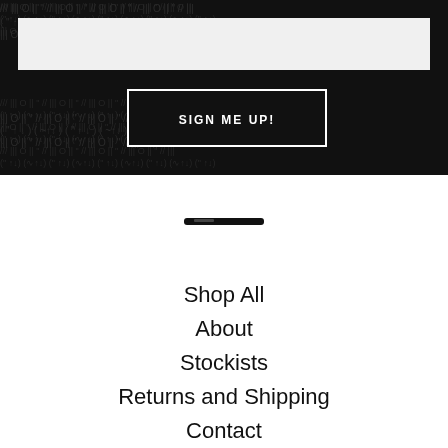[Figure (illustration): Dark banner with repeating typographic/symbol pattern background, containing a light-colored input field at the top and a 'SIGN ME UP!' button with white border below it]
[Figure (logo): Small brand logo mark in black, appears to be a short horizontal dash/swoosh shape]
Shop All
About
Stockists
Returns and Shipping
Contact